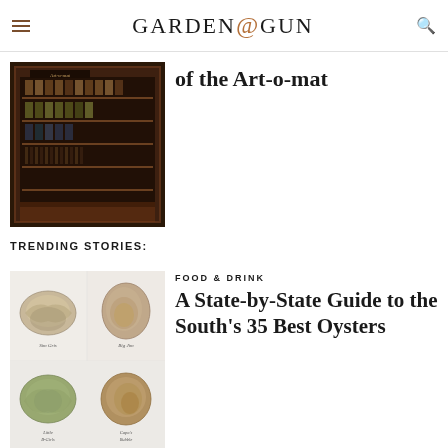GARDEN & GUN
[Figure (photo): Photo of an Art-o-mat vending machine, dark wood cabinet with shelves of small art packages, illuminated interior]
of the Art-o-mat
TRENDING STORIES:
[Figure (illustration): Four watercolor illustrations of oysters in their shells, arranged in a 2x2 grid with handwritten labels: Sim Gris, Big Jim, Little B-Girls, Capo's Rubble]
FOOD & DRINK
A State-by-State Guide to the South's 35 Best Oysters